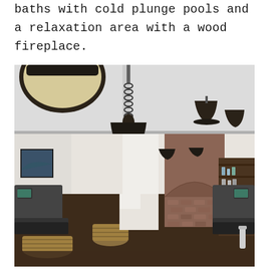baths with cold plunge pools and a relaxation area with a wood fireplace.
[Figure (photo): Interior photo of a hotel or resort fitness center/gym with industrial-style pendant lights hanging from a white ceiling, exercise equipment including treadmills and bikes, wicker baskets on the floor, a brick archway in the background, and a wooden shelving unit with products.]